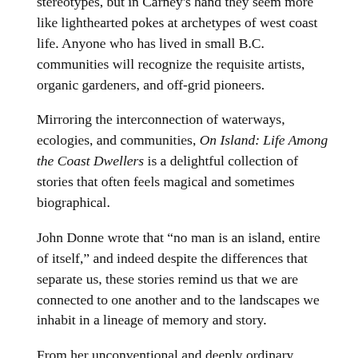stereotypes, but in Carney's hand they seem more like lighthearted pokes at archetypes of west coast life. Anyone who has lived in small B.C. communities will recognize the requisite artists, organic gardeners, and off-grid pioneers.
Mirroring the interconnection of waterways, ecologies, and communities, On Island: Life Among the Coast Dwellers is a delightful collection of stories that often feels magical and sometimes biographical.
John Donne wrote that “no man is an island, entire of itself,” and indeed despite the differences that separate us, these stories remind us that we are connected to one another and to the landscapes we inhabit in a lineage of memory and story.
From her unconventional and deeply ordinary characters, to her description of the beautiful and misty landscape of gorse and blackberry, cedar and kelp forests, and the ancient and eternal tides and rhythms of life, Pat Carney reveals her obvious love of the west coast islands. Like a string of pearls, her stories glimmer with humour, insight, and poetic language.
*